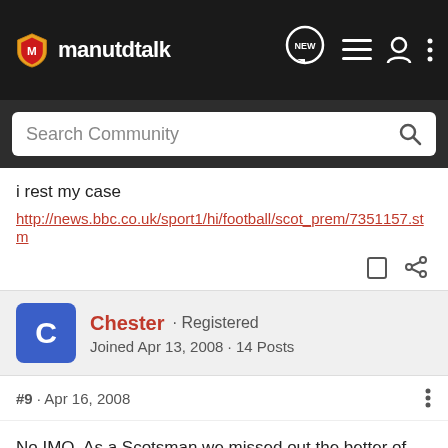manutdtalk
i rest my case
http://news.bbc.co.uk/sport1/hi/football/scot_prem/7351157.stm
Chester · Registered
Joined Apr 13, 2008 · 14 Posts
#9 · Apr 16, 2008
No IMO. As a Scotsman we missed out the better of the two keepers when Craig Gordon went to Sunderland. We should have taken him and groomed him to be the numbr one ASAP. McGregor is ok but has a shaky side and also has a very good defence in front of him. Not bad and half decent?